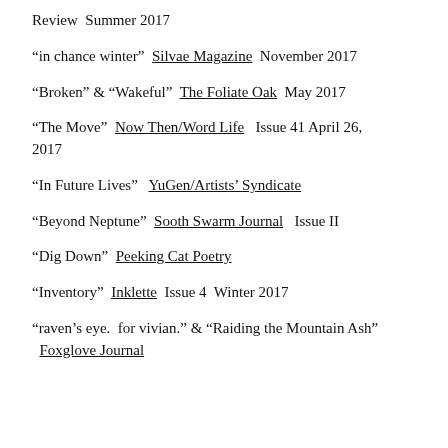Review  Summer 2017
“in chance winter”  Silvae Magazine  November 2017
“Broken” & “Wakeful”  The Foliate Oak  May 2017
“The Move”  Now Then/Word Life  Issue 41 April 26, 2017
“In Future Lives”  YuGen/Artists’ Syndicate
“Beyond Neptune”  Sooth Swarm Journal  Issue II
“Dig Down”  Peeking Cat Poetry
“Inventory”  Inklette  Issue 4  Winter 2017
“raven’s eye.  for vivian.” & “Raiding the Mountain Ash”  Foxglove Journal